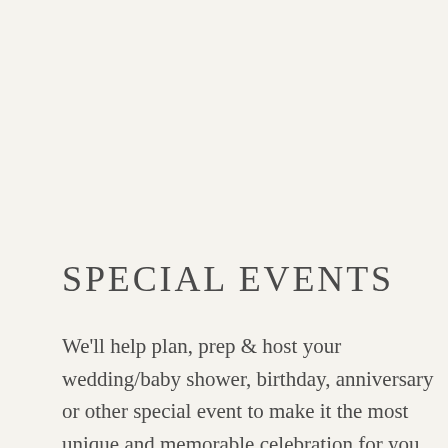SPECIAL EVENTS
We'll help plan, prep & host your wedding/baby shower, birthday, anniversary or other special event to make it the most unique and memorable celebration for you and your guests! We provide personalized menu development &